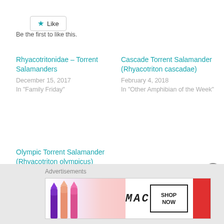[Figure (other): Like button with star icon and text 'Be the first to like this.']
Be the first to like this.
Rhyacotritonidae – Torrent Salamanders
December 15, 2017
In "Family Friday"
Cascade Torrent Salamander (Rhyacotriton cascadae)
February 4, 2018
In "Other Amphibian of the Week"
Olympic Torrent Salamander (Rhyacotriton olympicus)
July 29, 2018
In "Other Amphibian of the Week"
Advertisements
[Figure (photo): MAC cosmetics advertisement banner with lipsticks and SHOP NOW box]